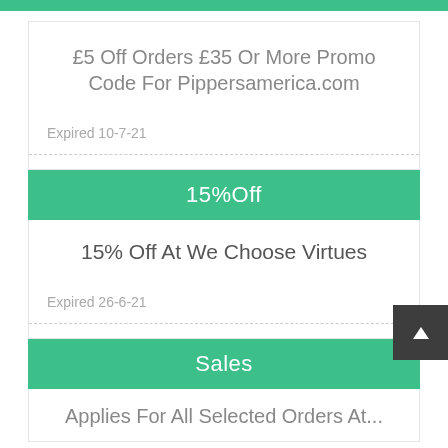£5 Off Orders £35 Or More Promo Code For Pippersamerica.com
Expired 10-7-21
15%Off
15% Off At We Choose Virtues
Expired 26-6-21
Sales
Applies For All Selected Orders At...